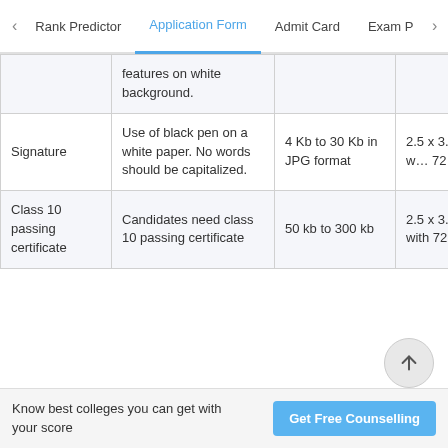< Rank Predictor | Application Form | Admit Card | Exam Pa >
|  | features on white background. |  |  |
| Signature | Use of black pen on a white paper. No words should be capitalized. | 4 Kb to 30 Kb in JPG format | 2.5 x 3.5 inches with 72 DPI |
| Class 10 passing certificate | Candidates need class 10 passing certificate | 50 kb to 300 kb | 2.5 x 3.5 inches with 72 DPI |
Know best colleges you can get with your score
Get Free Counselling